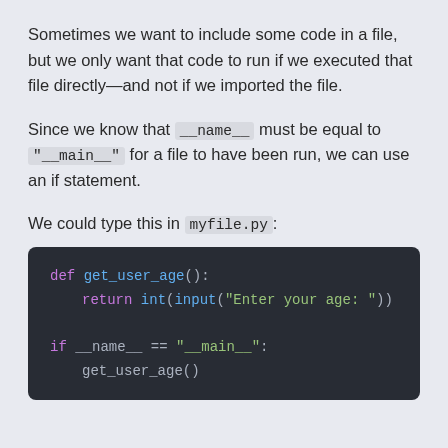Sometimes we want to include some code in a file, but we only want that code to run if we executed that file directly—and not if we imported the file.
Since we know that __name__ must be equal to "__main__" for a file to have been run, we can use an if statement.
We could type this in myfile.py:
[Figure (screenshot): Dark-themed Python code block showing: def get_user_age(): return int(input("Enter your age: "))  if __name__ == "__main__": get_user_age()]